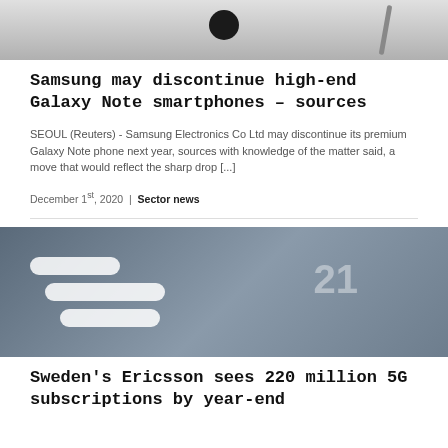[Figure (photo): Top cropped photo showing what appears to be a Samsung Galaxy Note smartphone with stylus]
Samsung may discontinue high-end Galaxy Note smartphones – sources
SEOUL (Reuters) - Samsung Electronics Co Ltd may discontinue its premium Galaxy Note phone next year, sources with knowledge of the matter said, a move that would reflect the sharp drop [...]
December 1st, 2020 | Sector news
[Figure (photo): Ericsson building exterior with logo — three white rounded bars on glass facade, number 21 visible]
Sweden's Ericsson sees 220 million 5G subscriptions by year-end